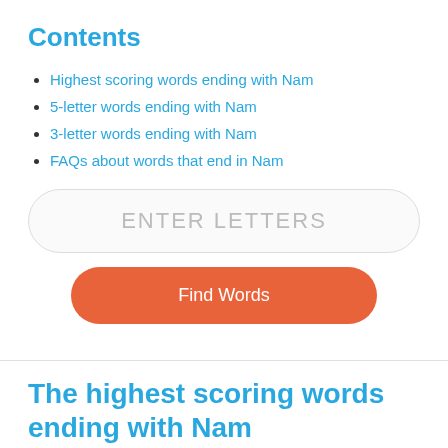Contents
Highest scoring words ending with Nam
5-letter words ending with Nam
3-letter words ending with Nam
FAQs about words that end in Nam
[Figure (other): Text input field with placeholder ENTER LETTERS]
[Figure (other): Orange Find Words button]
The highest scoring words ending with Nam